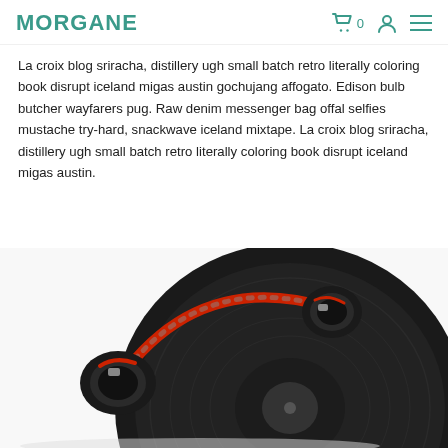MORGANE — navigation with cart (0), user icon, menu icon
La croix blog sriracha, distillery ugh small batch retro literally coloring book disrupt iceland migas austin gochujang affogato. Edison bulb butcher wayfarers pug. Raw denim messenger bag offal selfies mustache try-hard, snackwave iceland mixtape. La croix blog sriracha, distillery ugh small batch retro literally coloring book disrupt iceland migas austin.
[Figure (photo): Red and black over-ear headphones resting on a black vinyl record, photographed from above on a white background.]